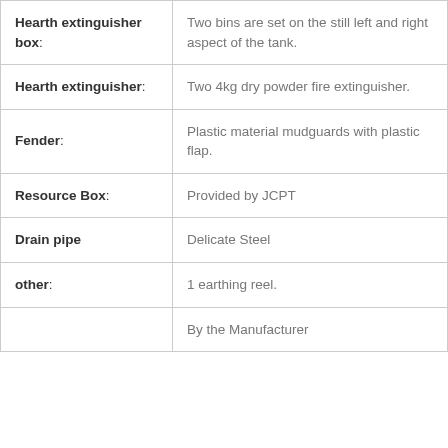| Term | Description |
| --- | --- |
| Hearth extinguisher box: | Two bins are set on the still left and right aspect of the tank. |
| Hearth extinguisher: | Two 4kg dry powder fire extinguisher. |
| Fender: | Plastic material mudguards with plastic flap. |
| Resource Box: | Provided by JCPT |
| Drain pipe | Delicate Steel |
| other: | 1 earthing reel. |
|  | By the Manufacturer |